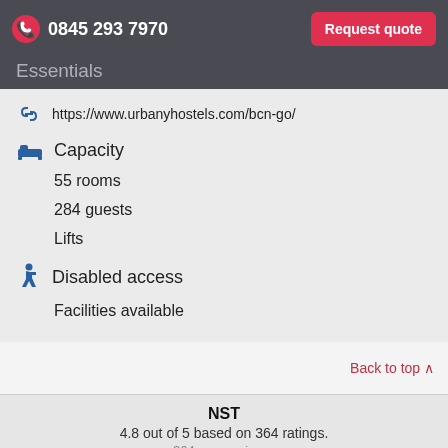0845 293 7970   Request quote
Essentials
https://www.urbanyhostels.com/bcn-go/
Capacity
55 rooms
284 guests
Lifts
Disabled access
Facilities available
Back to top ^
NST
4.8 out of 5 based on 364 ratings.
364 user reviews.
We use cookies to personalise content, to analyse traffic, for marketing, advertising and to provide social media features.